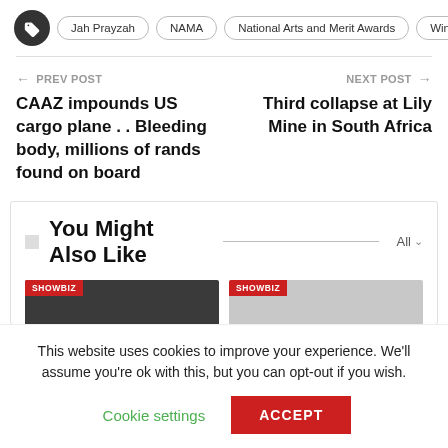Jah Prayzah | NAMA | National Arts and Merit Awards | Winky D
← PREV POST
CAAZ impounds US cargo plane . . Bleeding body, millions of rands found on board
NEXT POST →
Third collapse at Lily Mine in South Africa
You Might Also Like
[Figure (screenshot): Two SHOWBIZ thumbnail cards partially visible]
This website uses cookies to improve your experience. We'll assume you're ok with this, but you can opt-out if you wish.
Cookie settings   ACCEPT